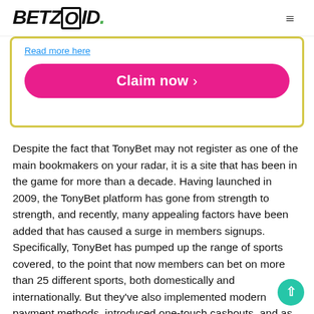BETZOID.
Read more here
Claim now ›
Despite the fact that TonyBet may not register as one of the main bookmakers on your radar, it is a site that has been in the game for more than a decade. Having launched in 2009, the TonyBet platform has gone from strength to strength, and recently, many appealing factors have been added that has caused a surge in members signups. Specifically, TonyBet has pumped up the range of sports covered, to the point that now members can bet on more than 25 different sports, both domestically and internationally. But they've also implemented modern payment methods, introduced one-touch cashouts, and as shown in the table above - new players can use the TonyBet bonus code to kick things off with a solid welcome offer. Like what you see?